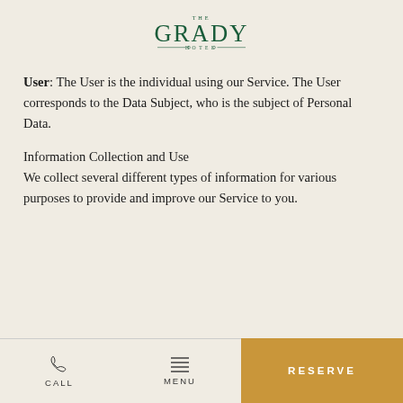[Figure (logo): The Grady Hotel logo with 'THE' above 'GRADY' in large letters and 'HOTEL' below with decorative flourishes]
User: The User is the individual using our Service. The User corresponds to the Data Subject, who is the subject of Personal Data.
Information Collection and Use
We collect several different types of information for various purposes to provide and improve our Service to you.
CALL | MENU | RESERVE